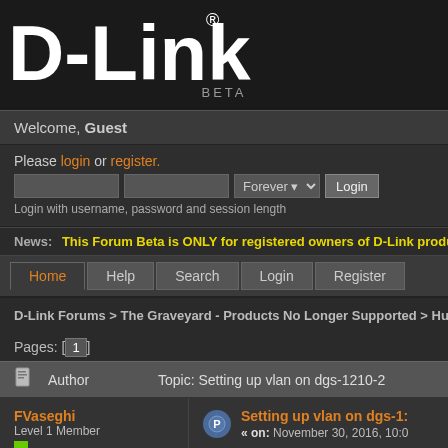[Figure (logo): D-Link logo in white on dark background with BETA text below]
Welcome, Guest
Please login or register. Login with username, password and session length
News: This Forum Beta is ONLY for registered owners of D-Link products in th
Home  Help  Search  Login  Register
D-Link Forums > The Graveyard - Products No Longer Supported > Hubs and S
Pages: [1]
| Author | Topic: Setting up vlan on dgs-1210-2 |
| --- | --- |
| FVaseghi
Level 1 Member
Posts: 1 | Setting up vlan on dgs-1
« on: November 30, 2016, 10:0
Hi. |
Hi.